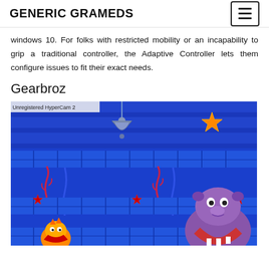GENERIC GRAMEDS
windows 10. For folks with restricted mobility or an incapability to grip a traditional controller, the Adaptive Controller lets them configure issues to fit their exact needs.
Gearbroz
[Figure (screenshot): Retro video game screenshot with 'Unregistered HyperCam 2' watermark. Blue platformer game scene with a hanging bell/lamp character, an orange star, a large purple hippo-like character on the right, and a smaller character at the bottom left. Grid-like platform blocks visible throughout.]